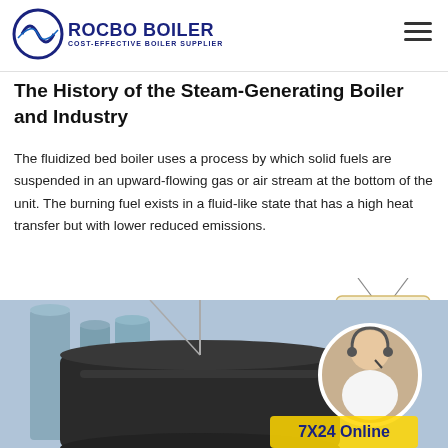ROCBO BOILER — COST-EFFECTIVE BOILER SUPPLIER
The History of the Steam-Generating Boiler and Industry
The fluidized bed boiler uses a process by which solid fuels are suspended in an upward-flowing gas or air stream at the bottom of the unit. The burning fuel exists in a fluid-like state that has a high heat transfer but with lower reduced emissions.
[Figure (other): 10% Discount promotional badge/sign]
[Figure (photo): Industrial boiler facility with large cylindrical tanks and piping; overlaid with a circular portrait of a female customer service agent wearing a headset, and '7X24 Online' text label]
7X24 Online